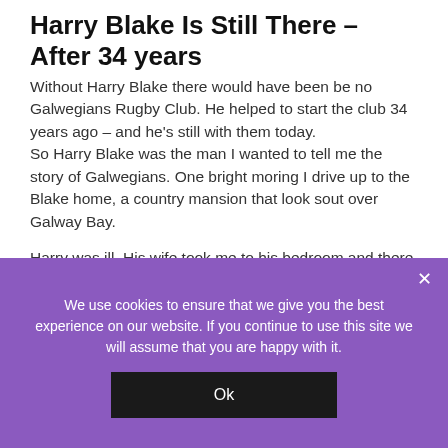Harry Blake Is Still There – After 34 years
Without Harry Blake there would have been be no Galwegians Rugby Club. He helped to start the club 34 years ago – and he's still with them today.
So Harry Blake was the man I wanted to tell me the story of Galwegians. One bright moring I drive up to the Blake home, a country mansion that look sout over Galway Bay.
Harry was ill. His wife took me to his bedroom and there he was, sitting up in bed and talking rugby with Jack Deacy and Sean Healy.
We use cookies to ensure that we give you the best experience on our website. If you continue to use this site we will assume that you are happy with it.